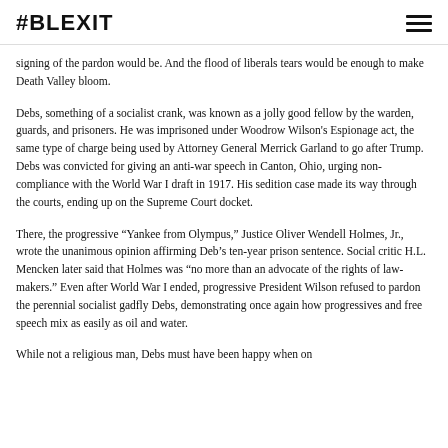#BLEXIT
signing of the pardon would be. And the flood of liberals tears would be enough to make Death Valley bloom.
Debs, something of a socialist crank, was known as a jolly good fellow by the warden, guards, and prisoners. He was imprisoned under Woodrow Wilson’s Espionage act, the same type of charge being used by Attorney General Merrick Garland to go after Trump. Debs was convicted for giving an anti-war speech in Canton, Ohio, urging non-compliance with the World War I draft in 1917. His sedition case made its way through the courts, ending up on the Supreme Court docket.
There, the progressive “Yankee from Olympus,” Justice Oliver Wendell Holmes, Jr., wrote the unanimous opinion affirming Deb’s ten-year prison sentence. Social critic H.L. Mencken later said that Holmes was “no more than an advocate of the rights of law-makers.” Even after World War I ended, progressive President Wilson refused to pardon the perennial socialist gadfly Debs, demonstrating once again how progressives and free speech mix as easily as oil and water.
While not a religious man, Debs must have been happy when on